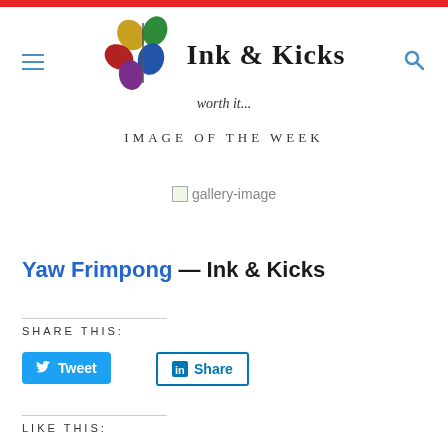Ink & Kicks — worth it...
IMAGE OF THE WEEK
[Figure (photo): Broken/missing gallery image placeholder labeled 'gallery-image']
Yaw Frimpong — Ink & Kicks
SHARE THIS:
Tweet
Share
LIKE THIS: